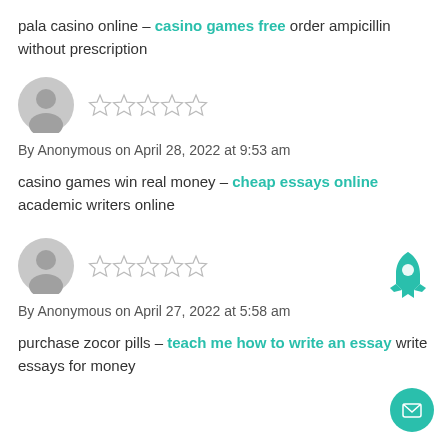pala casino online – casino games free order ampicillin without prescription
[Figure (illustration): Grey anonymous user avatar icon]
[Figure (illustration): Five empty star rating icons]
By Anonymous on April 28, 2022 at 9:53 am
casino games win real money – cheap essays online academic writers online
[Figure (illustration): Grey anonymous user avatar icon]
[Figure (illustration): Five empty star rating icons]
By Anonymous on April 27, 2022 at 5:58 am
purchase zocor pills – teach me how to write an essay write essays for money
[Figure (illustration): Teal rocket icon button]
[Figure (illustration): Teal circular mail/envelope button]